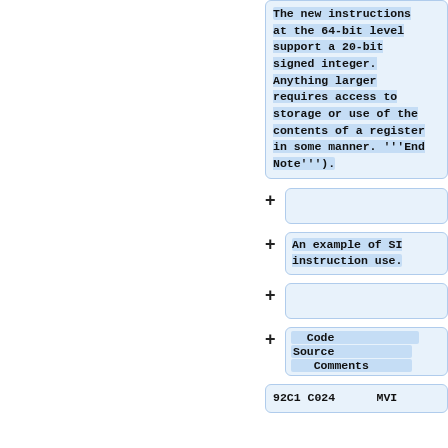The new instructions at the 64-bit level support a 20-bit signed integer. Anything larger requires access to storage or use of the contents of a register in some manner. '''End Note''').
An example of SI instruction use.
Code
Source
Comments
92C1 C024    MVI